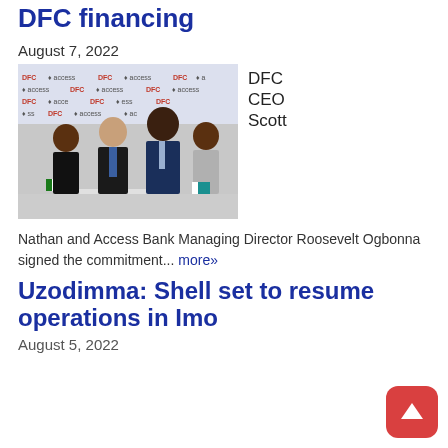DFC financing
August 7, 2022
[Figure (photo): Group photo of four people standing in front of a DFC and Access Bank branded backdrop. DFC CEO Scott Nathan and Access Bank Managing Director Roosevelt Ogbonna are among those pictured.]
DFC CEO Scott
Nathan and Access Bank Managing Director Roosevelt Ogbonna signed the commitment... more»
Uzodimma: Shell set to resume operations in Imo
August 5, 2022